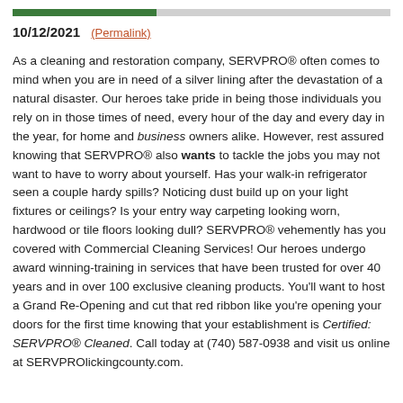10/12/2021 (Permalink)
As a cleaning and restoration company, SERVPRO® often comes to mind when you are in need of a silver lining after the devastation of a natural disaster. Our heroes take pride in being those individuals you rely on in those times of need, every hour of the day and every day in the year, for home and business owners alike. However, rest assured knowing that SERVPRO® also wants to tackle the jobs you may not want to have to worry about yourself. Has your walk-in refrigerator seen a couple hardy spills? Noticing dust build up on your light fixtures or ceilings? Is your entry way carpeting looking worn, hardwood or tile floors looking dull? SERVPRO® vehemently has you covered with Commercial Cleaning Services! Our heroes undergo award winning-training in services that have been trusted for over 40 years and in over 100 exclusive cleaning products. You'll want to host a Grand Re-Opening and cut that red ribbon like you're opening your doors for the first time knowing that your establishment is Certified: SERVPRO® Cleaned. Call today at (740) 587-0938 and visit us online at SERVPROlickingcounty.com.